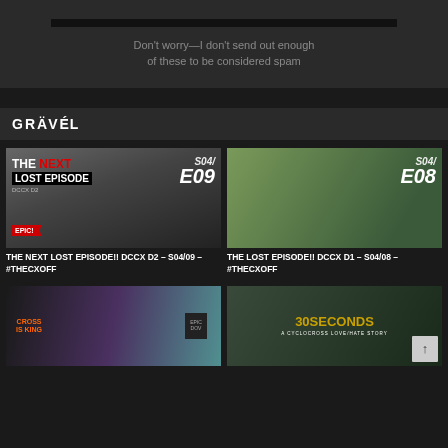Don't worry—I don't send out enough of these to be considered spam
GRÄVÉL
[Figure (screenshot): Video thumbnail for THE NEXT LOST EPISODE!! DCCX D2 – S04/09 – #TheCXOff showing cycling action with text overlay in black and white]
THE NEXT LOST EPISODE!! DCCX D2 – S04/09 – #TheCXOff
[Figure (screenshot): Video thumbnail for THE LOST EPISODE!! DCCX D1 – S04/08 – #TheCXOff showing cycling on gravel path with S04/E08 overlay]
THE LOST EPISODE!! DCCX D1 – S04/08 – #TheCXOff
[Figure (photo): T-shirt merchandise photo showing two black shirts with colorful cross/cycling graphics]
[Figure (screenshot): 30 SECONDS – A CYCLOCROSS LOVE/HATE STORY video thumbnail with golden text on dark background]